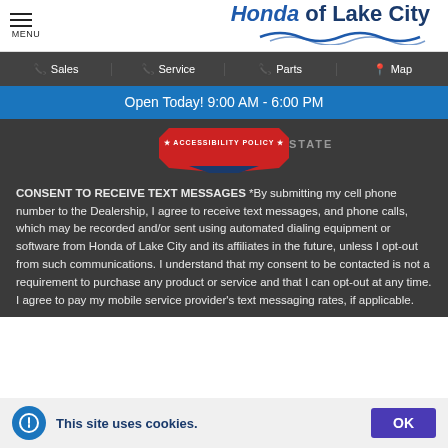Honda of Lake City
Sales | Service | Parts | Map
Open Today! 9:00 AM - 6:00 PM
[Figure (illustration): Accessibility Policy badge/seal graphic and partially visible 'STATEMENT' text on dark background]
CONSENT TO RECEIVE TEXT MESSAGES *By submitting my cell phone number to the Dealership, I agree to receive text messages, and phone calls, which may be recorded and/or sent using automated dialing equipment or software from Honda of Lake City and its affiliates in the future, unless I opt-out from such communications. I understand that my consent to be contacted is not a requirement to purchase any product or service and that I can opt-out at any time. I agree to pay my mobile service provider's text messaging rates, if applicable.
This site uses cookies. OK